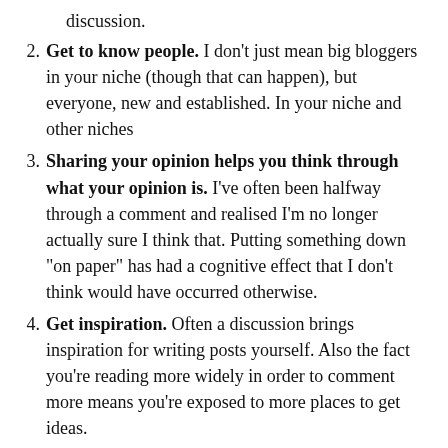discussion.
Get to know people. I don’t just mean big bloggers in your niche (though that can happen), but everyone, new and established. In your niche and other niches
Sharing your opinion helps you think through what your opinion is. I’ve often been halfway through a comment and realised I’m no longer actually sure I think that. Putting something down “on paper” has had a cognitive effect that I don’t think would have occurred otherwise.
Get inspiration. Often a discussion brings inspiration for writing posts yourself. Also the fact you’re reading more widely in order to comment more means you’re exposed to more places to get ideas.
Get links back to your site. If you need a straight business reason in addition to the above you can get links back to your site. Most sites